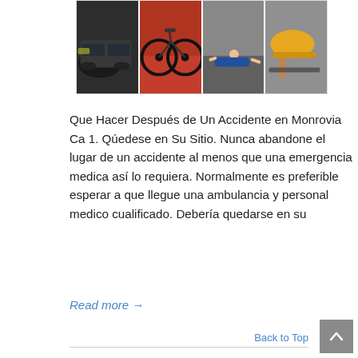[Figure (photo): Strip of four accident photos: damaged car, bicycle on red lane, person lying on ground, person fallen with hard hat]
Que Hacer Después de Un Accidente en Monrovia Ca 1. Qúedese en Su Sitio. Nunca abandone el lugar de un accidente al menos que una emergencia medica así lo requiera. Normalmente es preferible esperar a que llegue una ambulancia y personal medico cualificado. Debería quedarse en su
Read more →
Back to Top
Abogados de Accidentes de Auto y Trabajo Monrovia